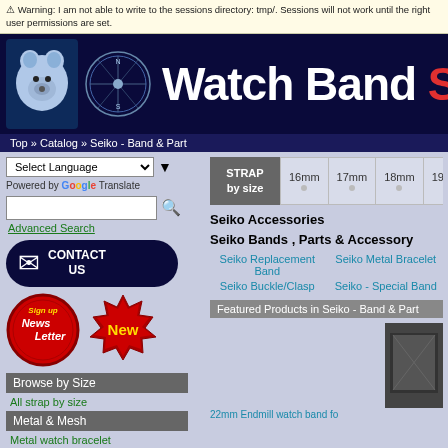⚠ Warning: I am not able to write to the sessions directory: tmp/. Sessions will not work until the right user permissions are set.
Watch Band S
Top » Catalog » Seiko - Band & Part
Select Language
Powered by Google Translate
Advanced Search
CONTACT US
[Figure (illustration): Newsletter badge (red circle) and New badge (red starburst)]
Browse by Size
All strap by size
Metal & Mesh
Metal watch bracelet
STRAP by size
16mm  17mm  18mm  19mm  2
Seiko Accessories
Seiko Bands , Parts & Accessory
Seiko Replacement Band
Seiko Metal Bracelet
Seiko Buckle/Clasp
Seiko - Special Band
Featured Products in Seiko - Band & Part
22mm Endmill watch band fo